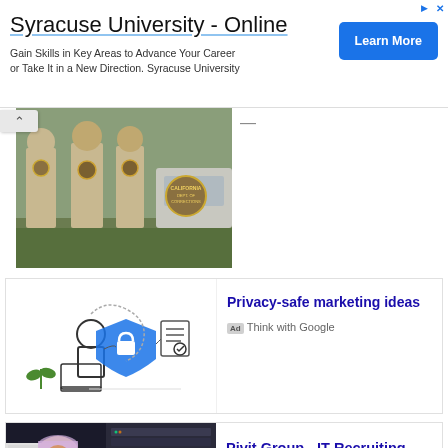[Figure (screenshot): Syracuse University Online advertisement banner with Learn More button]
Syracuse University - Online
Gain Skills in Key Areas to Advance Your Career or Take It in a New Direction. Syracuse University
[Figure (photo): California Department of Corrections officers standing near a patrol car]
[Figure (illustration): Privacy-safe marketing illustration showing a person with laptop and shield/lock icon]
Privacy-safe marketing ideas
Ad  Think with Google
[Figure (photo): Woman working in a server room holding a tablet]
Pivit Group - IT Recruiting
Ad  Pivit Group
[Figure (illustration): WEDA Submersible Drainage Pumps advertisement image]
Contact Us
Ad  Atlas Copco